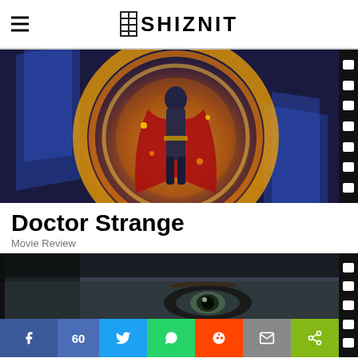SHIZNIT
[Figure (photo): Doctor Strange movie poster showing the character in a red cape surrounded by golden magical energy rings against a blue geometric background, with film strip on the right edge]
Doctor Strange
Movie Review
[Figure (photo): Close-up of a woman's eyes peering through a gap, dark moody tone with cracked wall visible, film strip on right edge, social sharing bar at bottom showing Facebook (60 shares), Twitter, WhatsApp, Reddit, Email, and Share buttons]